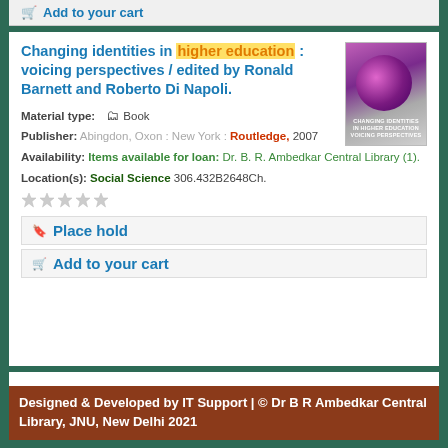Add to your cart
Changing identities in higher education : voicing perspectives / edited by Ronald Barnett and Roberto Di Napoli.
[Figure (illustration): Book cover for 'Changing Identities in Higher Education' showing purple/magenta circles on a grey background with text at the bottom]
Material type: Book
Publisher: Abingdon, Oxon : New York : Routledge, 2007
Availability: Items available for loan: Dr. B. R. Ambedkar Central Library (1).
Location(s): Social Science 306.432B2648Ch.
Place hold
Add to your cart
Designed & Developed by IT Support | © Dr B R Ambedkar Central Library, JNU, New Delhi 2021